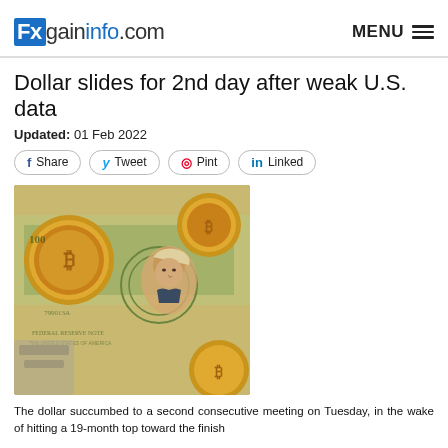fxgaininfo.com | MENU
Dollar slides for 2nd day after weak U.S. data
Updated: 01 Feb 2022
Share  Tweet  Pint  Linked
[Figure (photo): Bitcoin gold coins placed on top of US dollar bills, showing cryptocurrency and fiat currency together]
The dollar succumbed to a second consecutive meeting on Tuesday, in the wake of hitting a 19-month top toward the finish